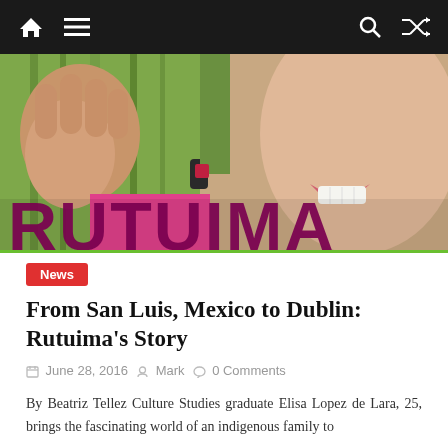Navigation bar with home, menu, search, and shuffle icons
[Figure (photo): Close-up photo of a person's face and hand with green hair, smiling, with large bold text RUTUIMA overlaid in dark magenta/maroon at the bottom of the image]
News
From San Luis, Mexico to Dublin: Rutuima’s Story
June 28, 2016   Mark   0 Comments
By Beatriz Tellez Culture Studies graduate Elisa Lopez de Lara, 25, brings the fascinating world of an indigenous family to